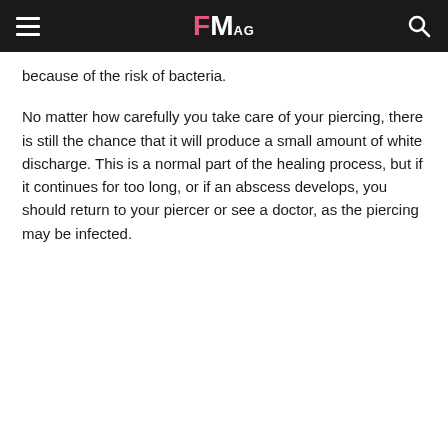FMag
because of the risk of bacteria.
No matter how carefully you take care of your piercing, there is still the chance that it will produce a small amount of white discharge. This is a normal part of the healing process, but if it continues for too long, or if an abscess develops, you should return to your piercer or see a doctor, as the piercing may be infected.